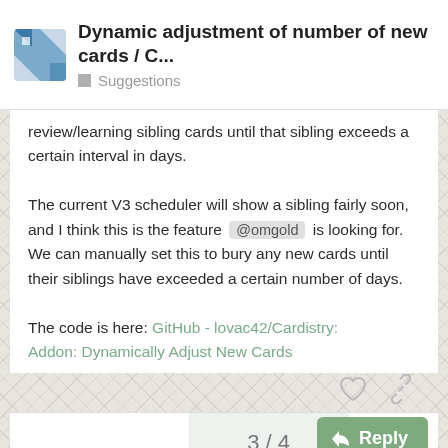Dynamic adjustment of number of new cards / C... Suggestions
review/learning sibling cards until that sibling exceeds a certain interval in days.

The current V3 scheduler will show a sibling fairly soon, and I think this is the feature @omgold is looking for. We can manually set this to bury any new cards until their siblings have exceeded a certain number of days.

The code is here: GitHub - lovac42/Cardistry: Addon: Dynamically Adjust New Cards
Suggested Topics